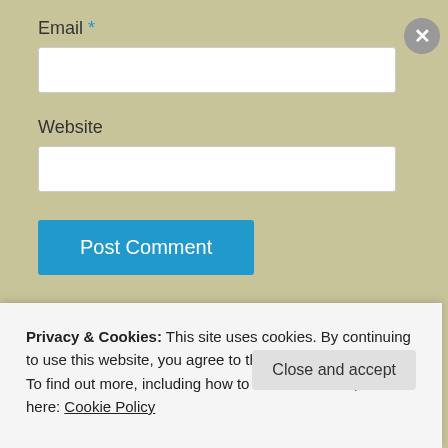Email *
[Figure (screenshot): Email text input field (empty, white background)]
Website
[Figure (screenshot): Website text input field (empty, white background)]
[Figure (screenshot): Post Comment button (blue)]
Notify me of new comments via email.
Notify me of new posts via email.
Privacy & Cookies: This site uses cookies. By continuing to use this website, you agree to their use.
To find out more, including how to control cookies, see here: Cookie Policy
Close and accept